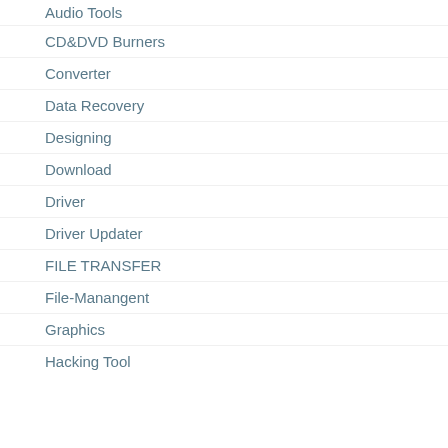Audio Tools
CD&DVD Burners
Converter
Data Recovery
Designing
Download
Driver
Driver Updater
FILE TRANSFER
File-Manangent
Graphics
Hacking Tool